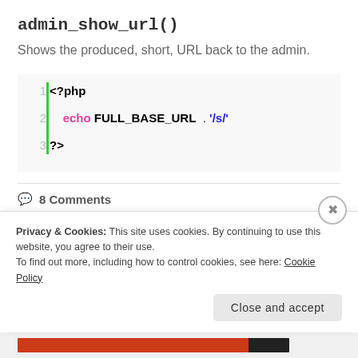admin_show_url()
Shows the produced, short, URL back to the admin.
[Figure (screenshot): PHP code block showing 3 lines: 1: <?php, 2: echo FULL_BASE_URL . '/s/', 3: ?>]
8 Comments
September 19, 2009
Privacy & Cookies: This site uses cookies. By continuing to use this website, you agree to their use. To find out more, including how to control cookies, see here: Cookie Policy